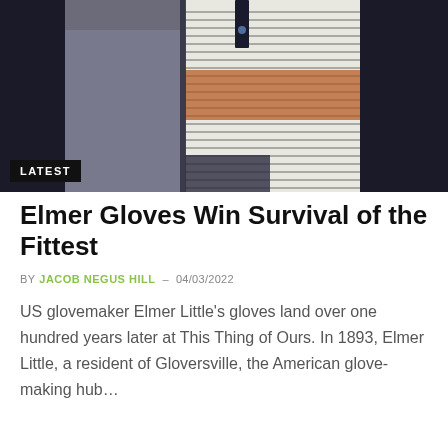[Figure (photo): Close-up photo of patterned knit gloves with black, white, and rust/orange geometric designs worn against a dark navy/black fabric background. A black label tag is visible.]
Elmer Gloves Win Survival of the Fittest
BY JACOB NEGUS HILL – 04/03/2022
US glovemaker Elmer Little's gloves land over one hundred years later at This Thing of Ours. In 1893, Elmer Little, a resident of Gloversville, the American glove-making hub…